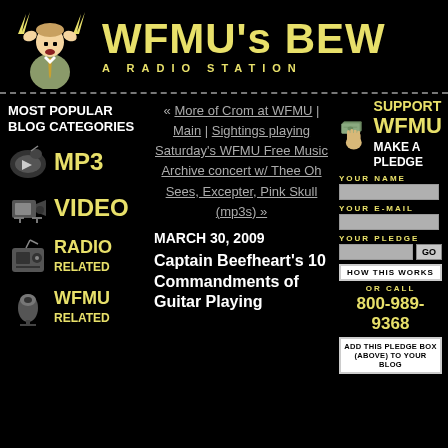WFMU's BEW — A RADIO STATION
MOST POPULAR BLOG CATEGORIES
MP3
VIDEO
RADIO RELATED
WFMU RELATED
« More of Crom at WFMU | Main | Sightings playing Saturday's WFMU Free Music Archive concert w/ Thee Oh Sees, Excepter, Pink Skull (mp3s) »
MARCH 30, 2009
Captain Beefheart's 10 Commandments of Guitar Playing
SUPPORT WFMU MAKE A PLEDGE
YOUR NAME
YOUR E-MAIL
YOUR PLEDGE
HOW THIS WORKS
OR CALL
800-989-9368
ADD THIS PLEDGE BOX (ABOVE) TO YOUR BLOG